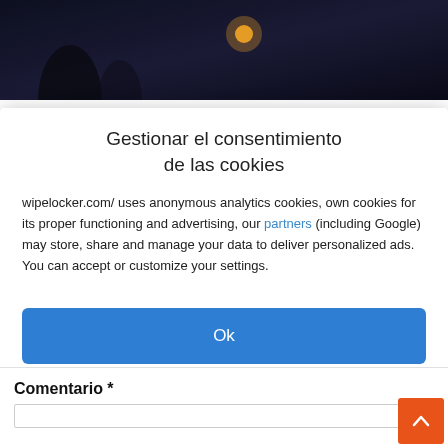[Figure (photo): Dark background image, partial view of a scene with a glowing orange/amber orb shape and shadowy silhouette figures]
Gestionar el consentimiento de las cookies
wipelocker.com/ uses anonymous analytics cookies, own cookies for its proper functioning and advertising, our partners (including Google) may store, share and manage your data to deliver personalized ads. You can accept or customize your settings.
Ok
Ver preferencias
Política de cookies   Declaración de privacidad   Impressum
Comentario *